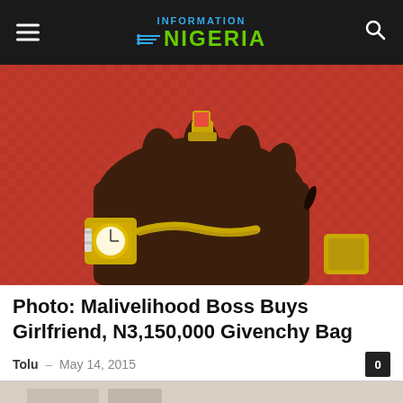INFORMATION NIGERIA
[Figure (photo): Close-up photo of a dark-skinned hand wearing a gold ring with a red gemstone, a gold Rolex watch, a diamond bracelet, and another gold bracelet/watch, against a red luxury bag background.]
Photo: Malivelihood Boss Buys Girlfriend, N3,150,000 Givenchy Bag
Tolu – May 14, 2015
[Figure (photo): Partial bottom image, appears to be another photo below the article intro.]